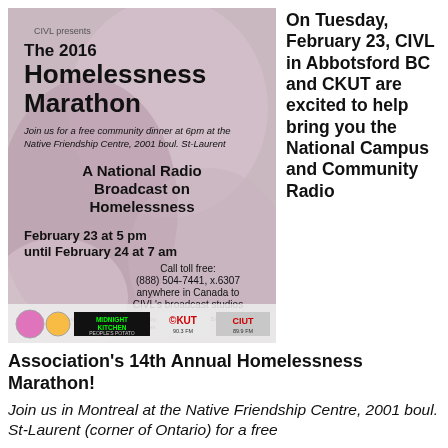[Figure (infographic): Event poster for The 2016 Homelessness Marathon, a national radio broadcast on homelessness. Features text: CIVL presents, The 2016 Homelessness Marathon, Join us for a free community dinner at 6pm at the Native Friendship Centre, 2001 boul. St-Laurent, A National Radio Broadcast on Homelessness, February 23 at 5 pm until February 24 at 7 am, Call toll free: (888) 504-7441, x.6307 anywhere in Canada to CIVL's broadcast studios. Includes logos for Midnight Kitchen People's Potato, CKUT 90.3 FM, CIUT 89.5 FM.]
On Tuesday, February 23, CIVL in Abbotsford BC and CKUT are excited to help bring you the National Campus and Community Radio
Association's 14th Annual Homelessness Marathon!
Join us in Montreal at the Native Friendship Centre, 2001 boul. St-Laurent (corner of Ontario) for a free